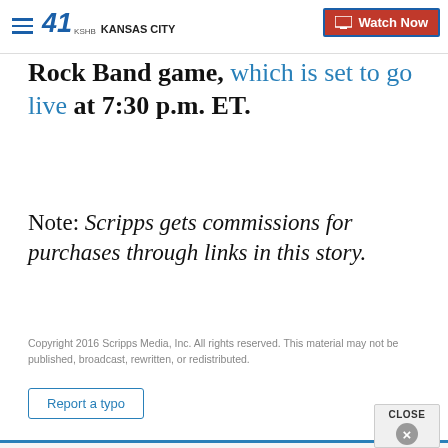41 KSHB KANSAS CITY | Watch Now
Rock Band game, which is set to go live at 7:30 p.m. ET.
Note: Scripps gets commissions for purchases through links in this story.
Copyright 2016 Scripps Media, Inc. All rights reserved. This material may not be published, broadcast, rewritten, or redistributed.
Report a typo
Sign up for the Breaking News Newsletter